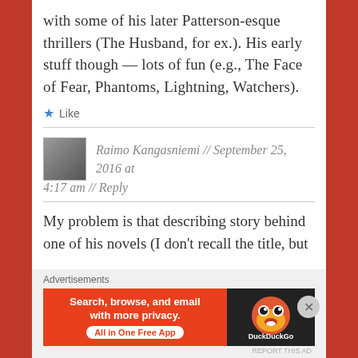with some of his later Patterson-esque thrillers (The Husband, for ex.). His early stuff though — lots of fun (e.g., The Face of Fear, Phantoms, Lightning, Watchers).
★ Like
Raimo Kangasniemi // September 25, 2016 at 4:17 am // Reply
My problem is that describing story behind one of his novels (I don't recall the title, but
[Figure (infographic): DuckDuckGo advertisement banner: 'Search, browse, and email with more privacy. All in One Free App' on orange background with DuckDuckGo logo on dark background]
Advertisements